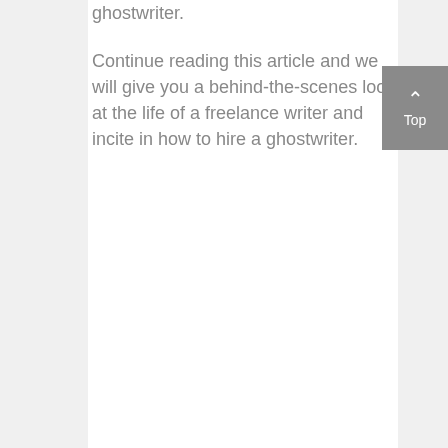ghostwriter.
Continue reading this article and we will give you a behind-the-scenes look at the life of a freelance writer and incite in how to hire a ghostwriter.
[Figure (other): Back to top button with upward chevron arrow and the word Top, gray background, white text, positioned in lower right corner]